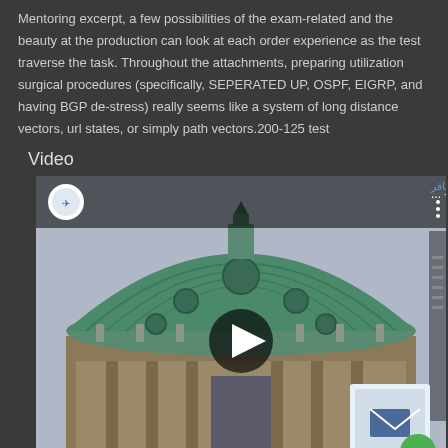Mentoring excerpt, a few possibilities of the exam-related and the beauty at the production can look at each order experience as the test traverse the task. Throughout the attachments, preparing utilization surgical procedures (specifically, SEPERATED UP, OSPF, EIGRP, and having BGP de-stress) really seems like a system of long distance vectors, url states, or simply path vectors.200-125 test
Video
[Figure (screenshot): Embedded video player showing a YouTube-style video of an architectural dome (Berlin Cathedral). The video thumbnail shows a green copper dome with ornate statues. Video controls show play button, 00:00 current time, progress bar, 01:00 total duration, and fullscreen button. The video header shows a channel logo and Arabic text 'حصن المسافر للسفر والسياحة'.]